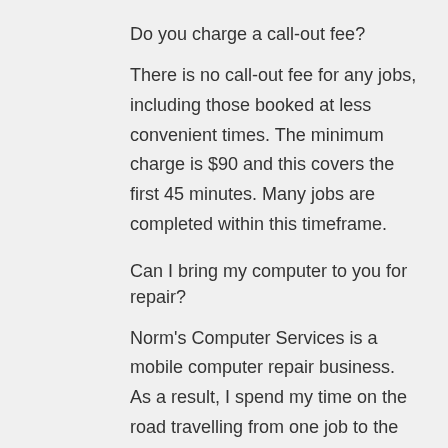Do you charge a call-out fee?
There is no call-out fee for any jobs, including those booked at less convenient times. The minimum charge is $90 and this covers the first 45 minutes. Many jobs are completed within this timeframe.
Can I bring my computer to you for repair?
Norm's Computer Services is a mobile computer repair business. As a result, I spend my time on the road travelling from one job to the next in various suburbs throughout greater Brisbane.